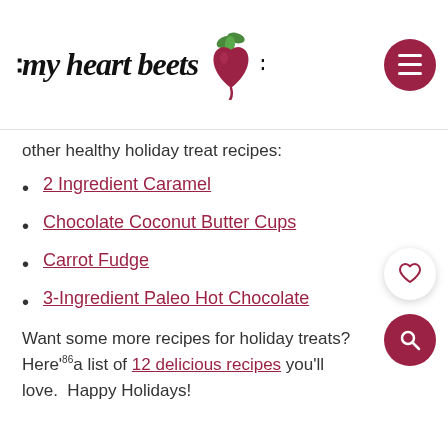my heart beets
other healthy holiday treat recipes:
2 Ingredient Caramel
Chocolate Coconut Butter Cups
Carrot Fudge
3-Ingredient Paleo Hot Chocolate
Want some more recipes for holiday treats? Here's a list of 12 delicious recipes you'll love.  Happy Holidays!